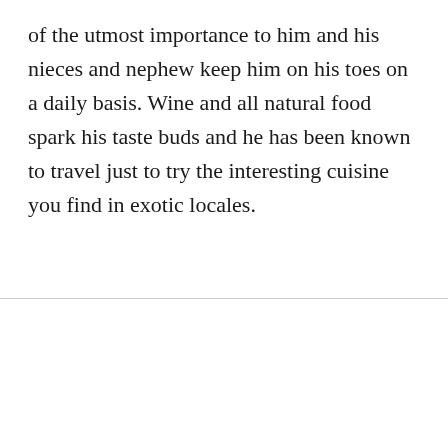of the utmost importance to him and his nieces and nephew keep him on his toes on a daily basis. Wine and all natural food spark his taste buds and he has been known to travel just to try the interesting cuisine you find in exotic locales.
Social icons (Facebook, Instagram, Pinterest), Chat with us button, USD currency selector